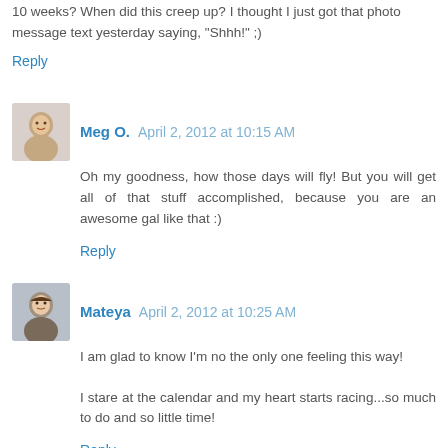10 weeks? When did this creep up? I thought I just got that photo message text yesterday saying, "Shhh!" ;)
Reply
Meg O.  April 2, 2012 at 10:15 AM
Oh my goodness, how those days will fly! But you will get all of that stuff accomplished, because you are an awesome gal like that :)
Reply
Mateya  April 2, 2012 at 10:25 AM
I am glad to know I'm no the only one feeling this way!
I stare at the calendar and my heart starts racing...so much to do and so little time!
Reply